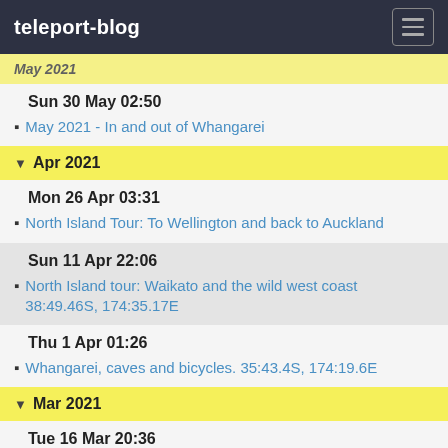teleport-blog
May 2021 (partial, header clipped)
Sun 30 May 02:50
May 2021 - In and out of Whangarei
Apr 2021
Mon 26 Apr 03:31
North Island Tour: To Wellington and back to Auckland
Sun 11 Apr 22:06
North Island tour: Waikato and the wild west coast 38:49.46S, 174:35.17E
Thu 1 Apr 01:26
Whangarei, caves and bicycles. 35:43.4S, 174:19.6E
Mar 2021
Tue 16 Mar 20:36
What can go wrong this time?
Sun 7 Mar 03:34